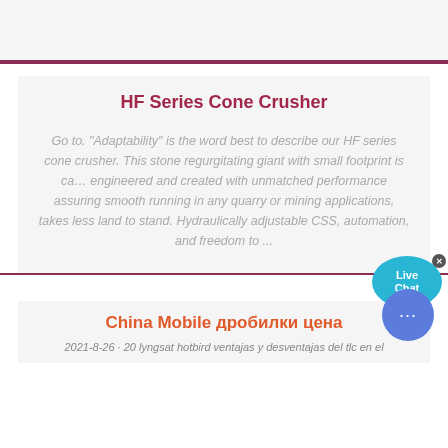HF Series Cone Crusher
Go to. "Adaptability" is the word best to describe our HF series cone crusher. This stone regurgitating giant with small footprint is ca... engineered and created with unmatched performance assuring smooth running in any quarry or mining applications, takes less land to stand. Hydraulically adjustable CSS, automation, and freedom to ...
China Mobile дробилки цена
2021-8-26 · 20 lyngsat hotbird ventajas y desventajas del tlc en el